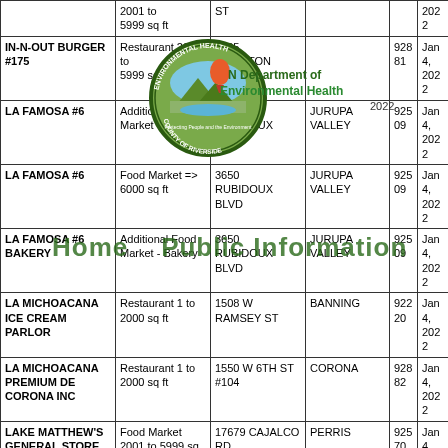| Name | Type | Address | City | Zip | Date |
| --- | --- | --- | --- | --- | --- |
|  | 2001 to 5999 sq ft | ST |  |  | 2022 |
| IN-N-OUT BURGER #175 | Restaurant 2001 to 5999 sq ft | 2305 COMPTON AVE | N Department of Environmental Health 2022 | 92881 | Jan 4, 2022 |
| LA FAMOSA #6 | Additional Food Market Operation | 3650 RUBIDOUX BLVD | JURUPA VALLEY | 92509 | Jan 4, 2022 |
| LA FAMOSA #6 | Food Market => 6000 sq ft | 3650 RUBIDOUX BLVD | JURUPA VALLEY | 92509 | Jan 4, 2022 |
| LA FAMOSA #6 BAKERY | Additional Food Market - Bakery | 3650 RUBIDOUX BLVD | JURUPA VALLEY | 92509 | Jan 4, 2022 |
| LA MICHOACANA ICE CREAM PARLOR | Restaurant 1 to 2000 sq ft | 1508 W RAMSEY ST | BANNING | 92220 | Jan 4, 2022 |
| LA MICHOACANA PREMIUM DE CORONA INC | Restaurant 1 to 2000 sq ft | 1550 W 6TH ST #104 | CORONA | 92882 | Jan 4, 2022 |
| LAKE MATTHEW'S GENERAL STORE INC. | Food Market 2001 to 5999 sq ft | 17679 CAJALCO RD | PERRIS | 92570 | Jan 4, 2022 |
| LITTLE CAESARS | Restaurant | 1496 | BANNING | 92363 | Jan 4, |